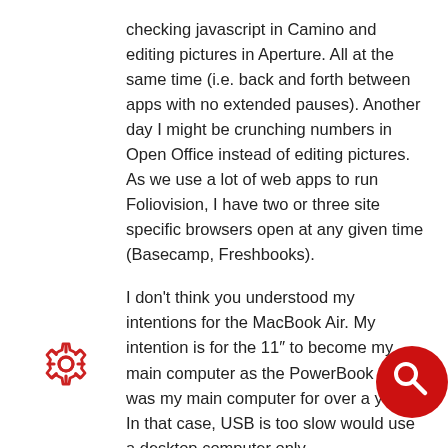checking javascript in Camino and editing pictures in Aperture. All at the same time (i.e. back and forth between apps with no extended pauses). Another day I might be crunching numbers in Open Office instead of editing pictures. As we use a lot of web apps to run Foliovision, I have two or three site specific browsers open at any given time (Basecamp, Freshbooks).
I don't think you understood my intentions for the MacBook Air. My intention is for the 11″ to become my main computer as the PowerBook 12″ was my main computer for over a year. In that case, USB is too slow would use a desktop computer only